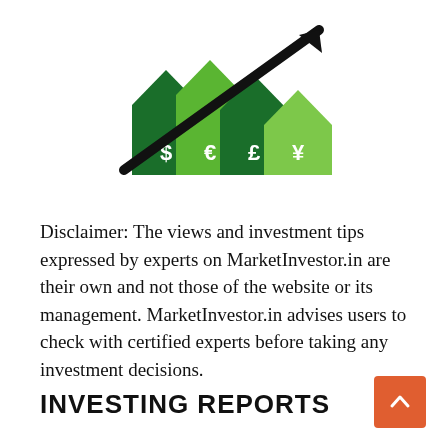[Figure (illustration): Finance/investing illustration showing four house-shaped bar columns in dark green and light green with currency symbols ($, €, £, ¥) and a bold black upward-trending arrow overlaying them, representing investment growth.]
Disclaimer: The views and investment tips expressed by experts on MarketInvestor.in are their own and not those of the website or its management. MarketInvestor.in advises users to check with certified experts before taking any investment decisions.
INVESTING REPORTS